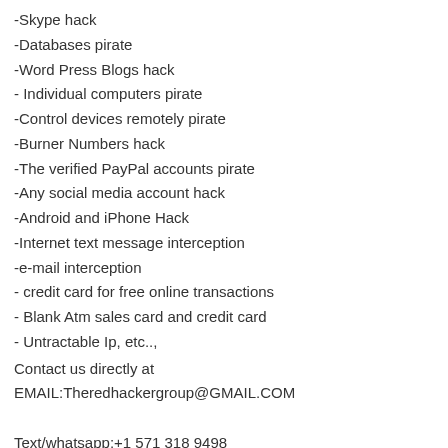-Skype hack
-Databases pirate
-Word Press Blogs hack
- Individual computers pirate
-Control devices remotely pirate
-Burner Numbers hack
-The verified PayPal accounts pirate
-Any social media account hack
-Android and iPhone Hack
-Internet text message interception
-e-mail interception
- credit card for free online transactions
- Blank Atm sales card and credit card
- Untractable Ip, etc..,
Contact us directly at
EMAIL:Theredhackergroup@GMAIL.COM

Text/whatsapp:+1 571 318 9498
Reply
Tom Neil  12 January 2022 at 16:01